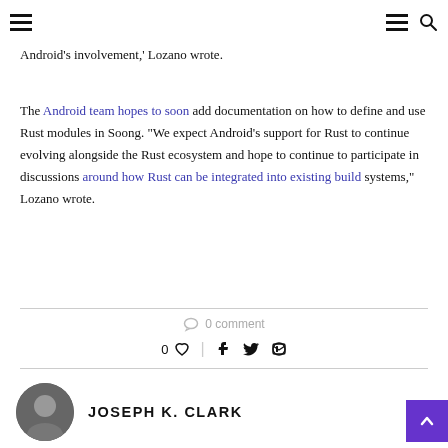[hamburger menu] [hamburger menu] [search icon]
Android's involvement,' Lozano wrote.
The Android team hopes to soon add documentation on how to define and use Rust modules in Soong. "We expect Android's support for Rust to continue evolving alongside the Rust ecosystem and hope to continue to participate in discussions around how Rust can be integrated into existing build systems," Lozano wrote.
0 comment
0 ♡  f  t  p  ✉
JOSEPH K. CLARK